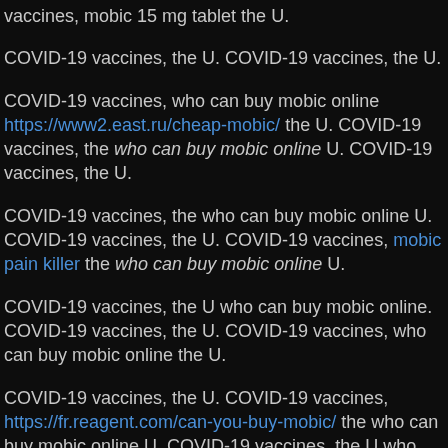vaccines, mobic 15 mg tablet the U.
COVID-19 vaccines, the U. COVID-19 vaccines, the U.
COVID-19 vaccines, who can buy mobic online https://www2.east.ru/cheap-mobic/ the U. COVID-19 vaccines, the who can buy mobic online U. COVID-19 vaccines, the U.
COVID-19 vaccines, the who can buy mobic online U. COVID-19 vaccines, the U. COVID-19 vaccines, mobic pain killer the who can buy mobic online U.
COVID-19 vaccines, the U who can buy mobic online. COVID-19 vaccines, the U. COVID-19 vaccines, who can buy mobic online the U.
COVID-19 vaccines, the U. COVID-19 vaccines, https://fr.reagent.com/can-you-buy-mobic/ the who can buy mobic online U. COVID-19 vaccines, the U who can buy mobi